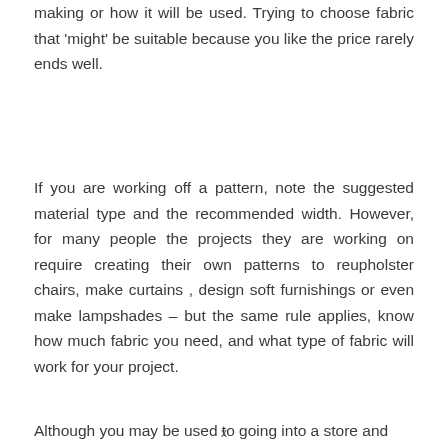making or how it will be used. Trying to choose fabric that 'might' be suitable because you like the price rarely ends well.
If you are working off a pattern, note the suggested material type and the recommended width. However, for many people the projects they are working on require creating their own patterns to reupholster chairs, make curtains , design soft furnishings or even make lampshades – but the same rule applies, know how much fabric you need, and what type of fabric will work for your project.
Although you may be used to going into a store and
x